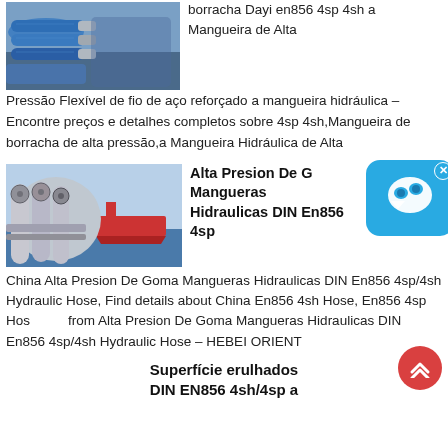[Figure (photo): Blue rubber hydraulic hoses bundled together]
borracha Dayi en856 4sp 4sh a Mangueira de Alta Pressão Flexível de fio de aço reforçado a mangueira hidráulica – Encontre preços e detalhes completos sobre 4sp 4sh,Mangueira de borracha de alta pressão,a Mangueira Hidráulica de Alta
[Figure (photo): Stainless steel hydraulic hoses and fittings with ship in background]
Alta Presion De G Mangueras Hidraulicas DIN En856 4sp
China Alta Presion De Goma Mangueras Hidraulicas DIN En856 4sp/4sh Hydraulic Hose, Find details about China En856 4sh Hose, En856 4sp Hose from Alta Presion De Goma Mangueras Hidraulicas DIN En856 4sp/4sh Hydraulic Hose – HEBEI ORIENT
Superfície erulhados DIN EN856 4sh/4sp a